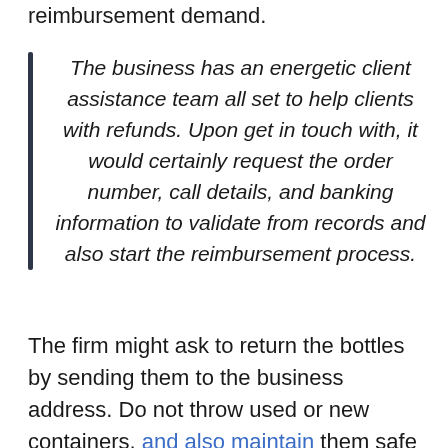reimbursement demand.
The business has an energetic client assistance team all set to help clients with refunds. Upon get in touch with, it would certainly request the order number, call details, and banking information to validate from records and also start the reimbursement process.
The firm might ask to return the bottles by sending them to the business address. Do not throw used or new containers, and also maintain them safe in case you are asked to send them back.
The reimbursement deal is just valid on orders purchased from the official website. It does not